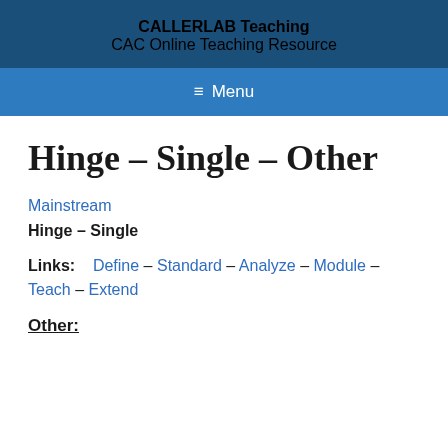CALLERLAB Teaching
CAC Online Teaching Resource
≡ Menu
Hinge – Single – Other
Mainstream
Hinge – Single
Links:   Define – Standard – Analyze – Module – Teach – Extend
Other: